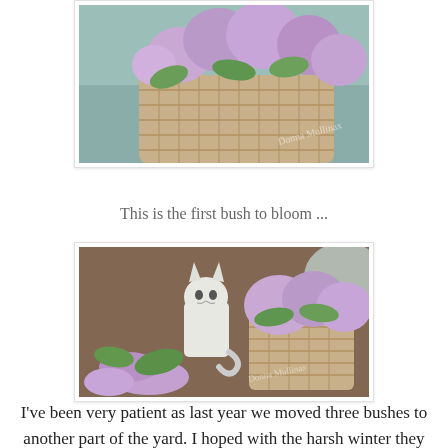[Figure (photo): Wicker basket filled with purple lilac blooms on a blue surface, partial top view]
This is the first bush to bloom ...
[Figure (photo): White cat figurine sitting on ground next to a wicker basket overflowing with purple lilac flowers, stems and blooms scattered on the dirt around it]
I've been very patient as last year we moved three bushes to another part of the yard. I hoped with the harsh winter they